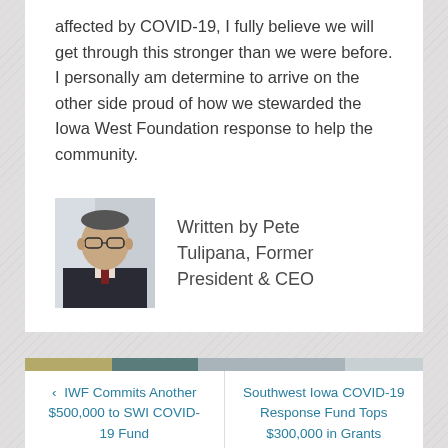affected by COVID-19, I fully believe we will get through this stronger than we were before. I personally am determine to arrive on the other side proud of how we stewarded the Iowa West Foundation response to help the community.
[Figure (photo): Portrait photo of Pete Tulipana, a man in a dark suit with glasses]
Written by Pete Tulipana, Former President & CEO
‹ IWF Commits Another $500,000 to SWI COVID-19 Fund
Southwest Iowa COVID-19 Response Fund Tops $300,000 in Grants Awarded ›